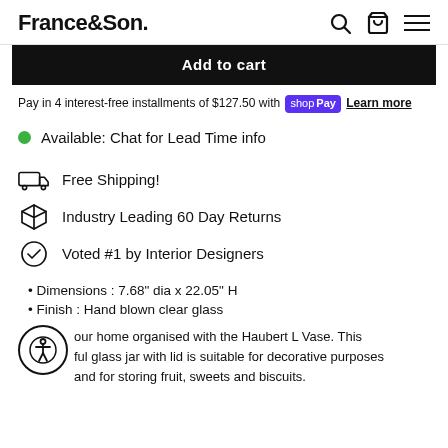France&Son.
Add to cart
Pay in 4 interest-free installments of $127.50 with Shop Pay Learn more
Available: Chat for Lead Time info
Free Shipping!
Industry Leading 60 Day Returns
Voted #1 by Interior Designers
Dimensions : 7.68" dia x 22.05" H
Finish : Hand blown clear glass
...our home organised with the Haubert L Vase. This ...ful glass jar with lid is suitable for decorative purposes and for storing fruit, sweets and biscuits.